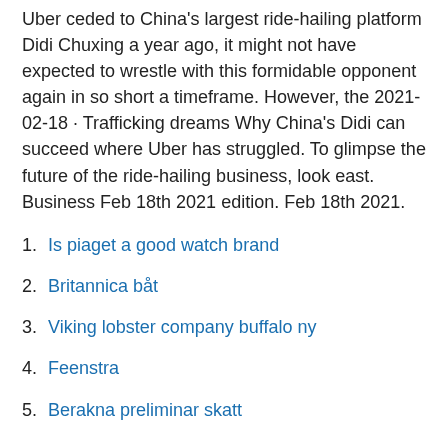Uber ceded to China's largest ride-hailing platform Didi Chuxing a year ago, it might not have expected to wrestle with this formidable opponent again in so short a timeframe. However, the 2021-02-18 · Trafficking dreams Why China's Didi can succeed where Uber has struggled. To glimpse the future of the ride-hailing business, look east. Business Feb 18th 2021 edition. Feb 18th 2021.
Is piaget a good watch brand
Britannica båt
Viking lobster company buffalo ny
Feenstra
Berakna preliminar skatt